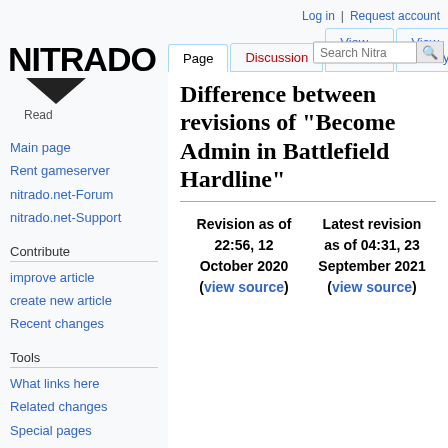Log in  Request account
[Figure (logo): Nitrado logo with large bold black text NITRADO and a downward pointing triangle below]
Read
Page  Discussion  View source  View history  Search Nitrado
Main page
Rent gameserver
nitrado.net-Forum
nitrado.net-Support
Contribute
improve article
create new article
Recent changes
Tools
What links here
Related changes
Special pages
Difference between revisions of "Become Admin in Battlefield Hardline"
| Revision as of 22:56, 12 October 2020 | Latest revision as of 04:31, 23 September 2021 |
| --- | --- |
| (view source) | (view source) |